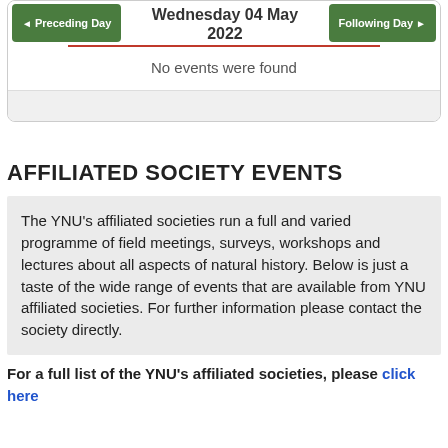Wednesday 04 May 2022
No events were found
AFFILIATED SOCIETY EVENTS
The YNU's affiliated societies run a full and varied programme of field meetings, surveys, workshops and lectures about all aspects of natural history. Below is just a taste of the wide range of events that are available from YNU affiliated societies. For further information please contact the society directly.
For a full list of the YNU's affiliated societies, please click here